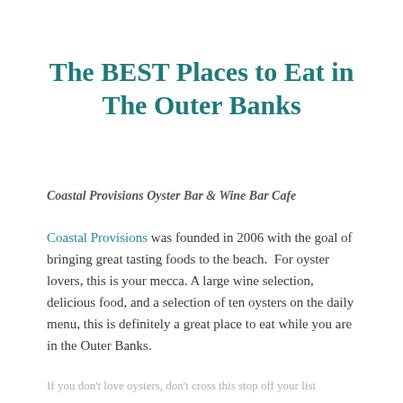The BEST Places to Eat in The Outer Banks
Coastal Provisions Oyster Bar & Wine Bar Cafe
Coastal Provisions was founded in 2006 with the goal of bringing great tasting foods to the beach.  For oyster lovers, this is your mecca. A large wine selection, delicious food, and a selection of ten oysters on the daily menu, this is definitely a great place to eat while you are in the Outer Banks.
If you don't love oysters, don't cross this stop off your list